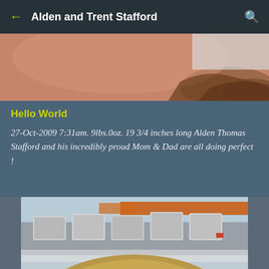Alden and Trent Stafford
[Figure (photo): Close-up photo of a newborn baby's head showing reddish skin and fine hair, partially cropped at the top of the feed]
Hello World
27-Oct-2009 7:31am. 9lbs.0oz. 19 3/4 inches long Alden Thomas Stafford and his incredibly proud Mom & Dad are all doing perfect !
[Figure (photo): Photo taken from below/close-up of a young child's hair and forehead, with an airport or public venue check-in counter visible in the background]